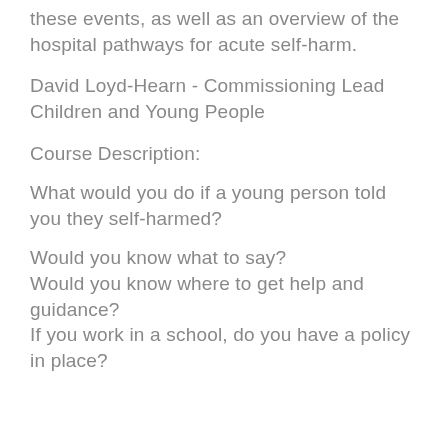these events, as well as an overview of the hospital pathways for acute self-harm.
David Loyd-Hearn - Commissioning Lead Children and Young People
Course Description:
What would you do if a young person told you they self-harmed?
Would you know what to say?
Would you know where to get help and guidance?
If you work in a school, do you have a policy in place?